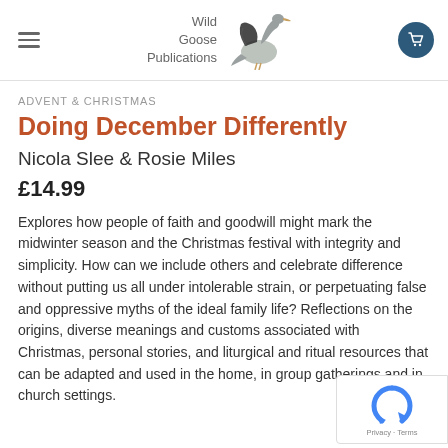Wild Goose Publications
ADVENT & CHRISTMAS
Doing December Differently
Nicola Slee & Rosie Miles
£14.99
Explores how people of faith and goodwill might mark the midwinter season and the Christmas festival with integrity and simplicity. How can we include others and celebrate difference without putting us all under intolerable strain, or perpetuating false and oppressive myths of the ideal family life? Reflections on the origins, diverse meanings and customs associated with Christmas, personal stories, and liturgical and ritual resources that can be adapted and used in the home, in group gatherings and in church settings.